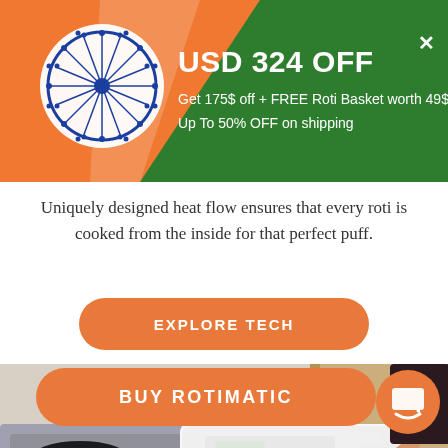[Figure (infographic): Promotional banner with Indian flag colors (orange and green gradient), Ashoka Chakra wheel on left, bold text 'USD 324 OFF', subtext 'Get 175$ off + FREE Roti Basket worth 49$', 'Up To 50% OFF on shipping', and a close X button.]
Uniquely designed heat flow ensures that every roti is cooked from the inside for that perfect puff.
[Figure (other): Orange rounded rectangle button with text 'EXPLORE TECH' in white uppercase bold letters.]
[Figure (photo): Photo of a white Rotimatic machine on a kitchen counter with stacked rotis (flatbreads) in the foreground, a person's hand touching the machine control panel, and kitchen appliances in the background.]
[Figure (other): Orange rounded rectangle button with text 'BUY ROTIMATIC' in white uppercase bold letters, and a small orange circular Amazon logo icon on the right.]